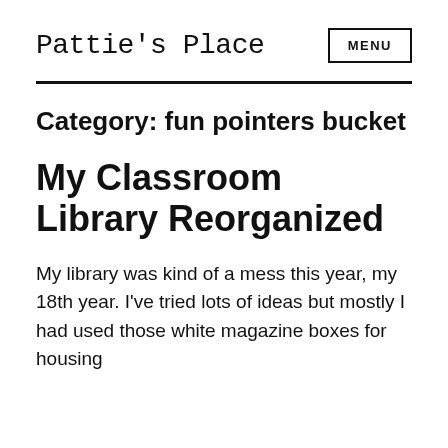Pattie's Place
Category: fun pointers bucket
My Classroom Library Reorganized
My library was kind of a mess this year, my 18th year. I've tried lots of ideas but mostly I had used those white magazine boxes for housing